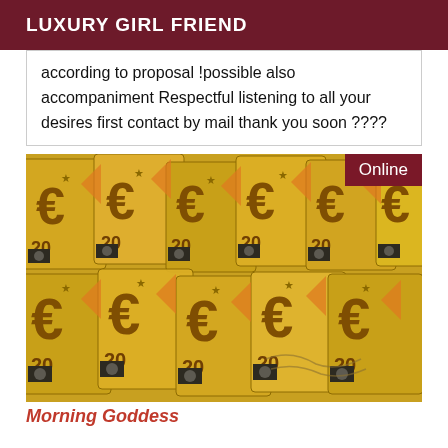LUXURY GIRL FRIEND
according to proposal !possible also accompaniment Respectful listening to all your desires first contact by mail thank you soon ????
[Figure (photo): Photo of many overlapping 20 Euro banknotes spread out, with an 'Online' badge in the top right corner.]
Morning Goddess